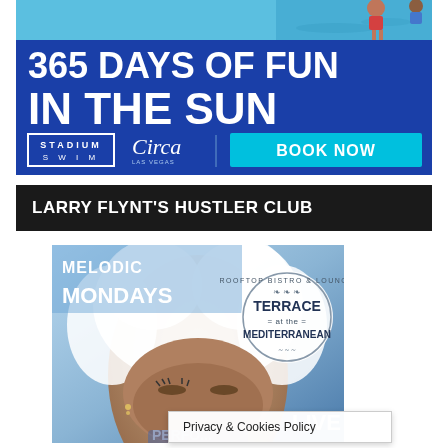[Figure (illustration): Advertisement banner for Stadium Swim at Circa Las Vegas: blue background with bold white text '365 DAYS OF FUN IN THE SUN', Stadium Swim logo, Circa logo, and 'BOOK NOW' cyan button. Pool scene at top.]
LARRY FLYNT'S HUSTLER CLUB
[Figure (photo): Event promotional image for Melodic Mondays featuring a close-up of a woman with white curly hair. Terrace Mediterranean Rooftop Bistro & Lounge logo badge visible. Text: MELODIC MONDAYS, LIVE, PERFO...]
Privacy & Cookies Policy